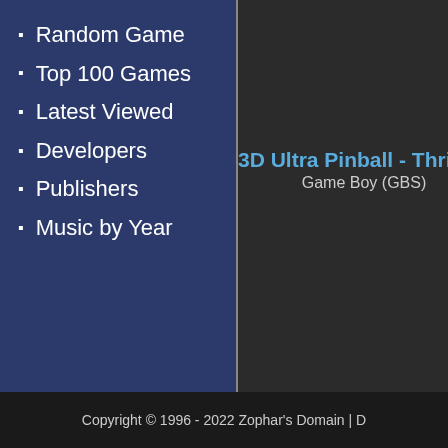Random Game
Top 100 Games
Latest Viewed
Developers
Publishers
Music by Year
3D Ultra Pinball - Thrillride
Game Boy (GBS)
Asmik-kun World 2
Game Boy (GBS)
Copyright © 1996 - 2022 Zophar's Domain | D